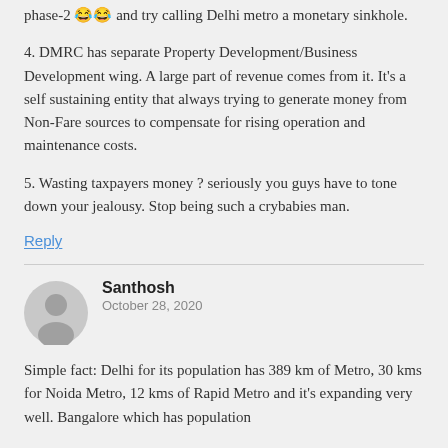phase-2 😂😂 and try calling Delhi metro a monetary sinkhole.
4. DMRC has separate Property Development/Business Development wing. A large part of revenue comes from it. It's a self sustaining entity that always trying to generate money from Non-Fare sources to compensate for rising operation and maintenance costs.
5. Wasting taxpayers money ? seriously you guys have to tone down your jealousy. Stop being such a crybabies man.
Reply
Santhosh
October 28, 2020
Simple fact: Delhi for its population has 389 km of Metro, 30 kms for Noida Metro, 12 kms of Rapid Metro and it's expanding very well. Bangalore which has population